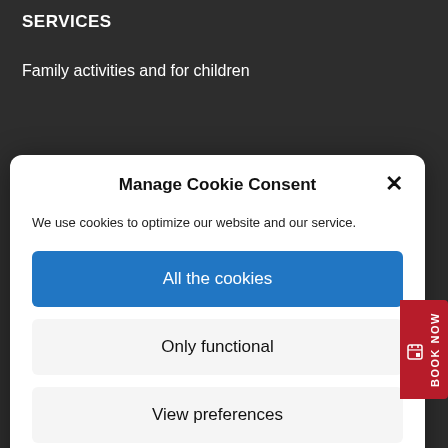SERVICES
Family activities and for children
Manage Cookie Consent
We use cookies to optimize our website and our service.
All the cookies
Only functional
View preferences
Cookies policy
Introduzca su nombre